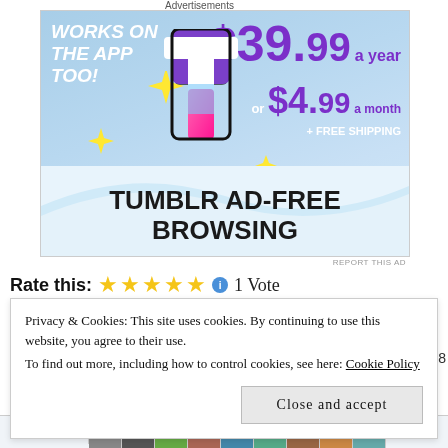Advertisements
[Figure (illustration): Tumblr ad promoting ad-free browsing. Shows the Tumblr 't' logo with yellow sparkles, text 'WORKS ON THE APP TOO!' in white italic, pricing '$39.99 a year or $4.99 a month + FREE SHIPPING' in purple, and large bold text 'TUMBLR AD-FREE BROWSING' on a cloudy blue background with a white wave.]
REPORT THIS AD
Rate this: ★★★★★ ⓘ 1 Vote
Privacy & Cookies: This site uses cookies. By continuing to use this website, you agree to their use.
To find out more, including how to control cookies, see here: Cookie Policy
Close and accept
Like